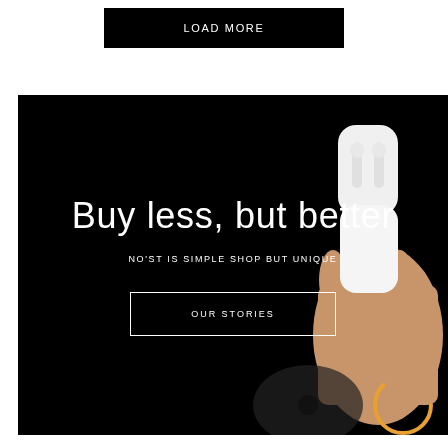LOAD MORE
[Figure (illustration): Dark banner with hand holding AirPods case on the right side, with an orange circular loading indicator at bottom right]
Buy less, but better
NO'ST IS SIMPLE SHOP BUT UNIQUE
OUR STORIES